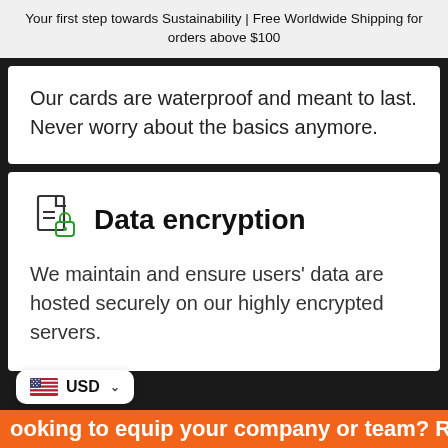Your first step towards Sustainability | Free Worldwide Shipping for orders above $100
Our cards are waterproof and meant to last. Never worry about the basics anymore.
Data encryption
We maintain and ensure users' data are hosted securely on our highly encrypted servers.
USD
ooking to equip your company or team? Reach out